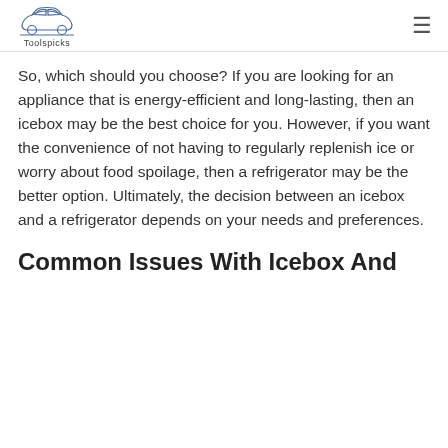Toolspicks
So, which should you choose? If you are looking for an appliance that is energy-efficient and long-lasting, then an icebox may be the best choice for you. However, if you want the convenience of not having to regularly replenish ice or worry about food spoilage, then a refrigerator may be the better option. Ultimately, the decision between an icebox and a refrigerator depends on your needs and preferences.
Common Issues With Icebox And